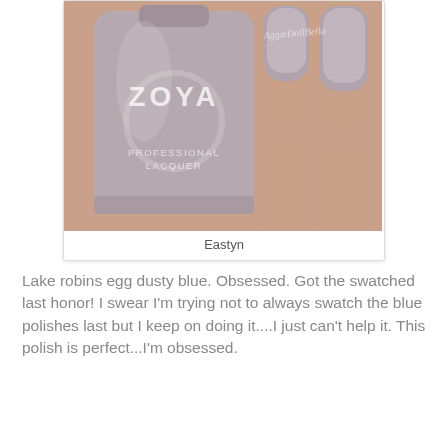[Figure (photo): A bottle of Zoya Professional Lacquer nail polish in a dusty mauve-grey shade, held by a hand with nails painted in the same color. The bottle label reads ZOYA and PROFESSIONAL LACQUER. A watermark reads AggieDollBella.]
Eastyn
Lake robins egg dusty blue. Obsessed. Got the swatched last honor! I swear I'm trying not to always swatch the blue polishes last but I keep on doing it....I just can't help it. This polish is perfect...I'm obsessed.